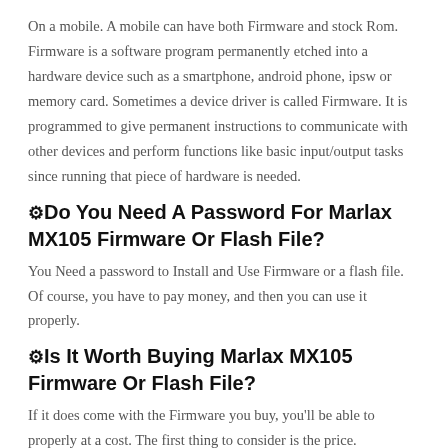On a mobile. A mobile can have both Firmware and stock Rom. Firmware is a software program permanently etched into a hardware device such as a smartphone, android phone, ipsw or memory card. Sometimes a device driver is called Firmware. It is programmed to give permanent instructions to communicate with other devices and perform functions like basic input/output tasks since running that piece of hardware is needed.
⚙Do You Need A Password For Marlax MX105 Firmware Or Flash File?
You Need a password to Install and Use Firmware or a flash file. Of course, you have to pay money, and then you can use it properly.
⚙Is It Worth Buying Marlax MX105 Firmware Or Flash File?
If it does come with the Firmware you buy, you'll be able to properly at a cost. The first thing to consider is the price. Unlocking through Firmware or flash file directly will cost 6S; it is a small investment.